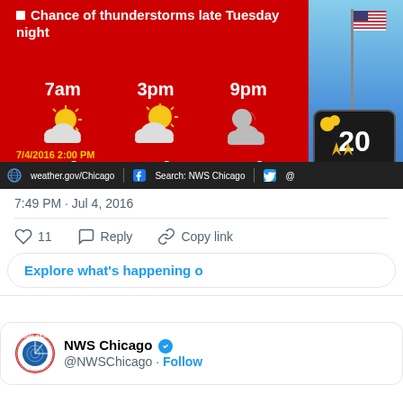[Figure (screenshot): Weather forecast card from NWS Chicago showing conditions for 7/4/2016. Red background with weather icons for 7am (67°), 3pm (84°), and 9pm (78°). Bullet point: Chance of thunderstorms late Tuesday night. Timestamp: 7/4/2016 2:00 PM. Bottom bar with weather.gov/Chicago, Facebook Search: NWS Chicago, Twitter handle.]
7:49 PM · Jul 4, 2016
11  Reply  Copy link
Explore what's happening o
NWS Chicago @NWSChicago · Follow